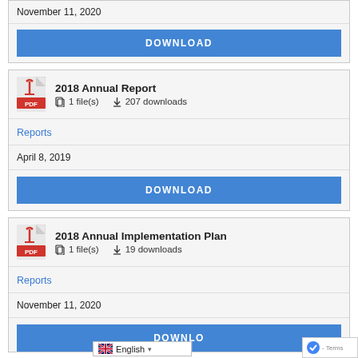November 11, 2020
DOWNLOAD
2018 Annual Report
1 file(s)   207 downloads
Reports
April 8, 2019
DOWNLOAD
2018 Annual Implementation Plan
1 file(s)   19 downloads
Reports
November 11, 2020
DOWNLO...